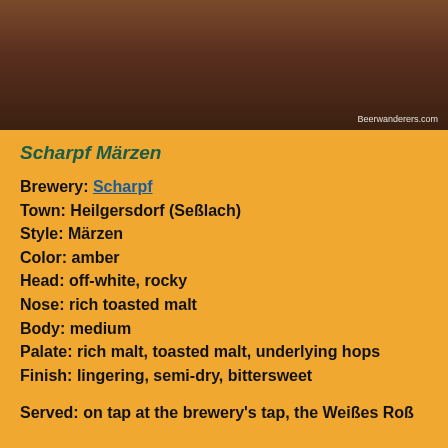[Figure (photo): Photo of a beer glass on a wooden table, partially visible at the top of the page. Watermark reads 'Beerwanderers.com'.]
Scharpf Märzen
Brewery: Scharpf
Town: Heilgersdorf (Seßlach)
Style: Märzen
Color: amber
Head: off-white, rocky
Nose: rich toasted malt
Body: medium
Palate: rich malt, toasted malt, underlying hops
Finish: lingering, semi-dry, bittersweet
Served: on tap at the brewery's tap, the Weißes Roß
Impression: This is a beer that could have disappointed. I'd wanted to go for a couple years and